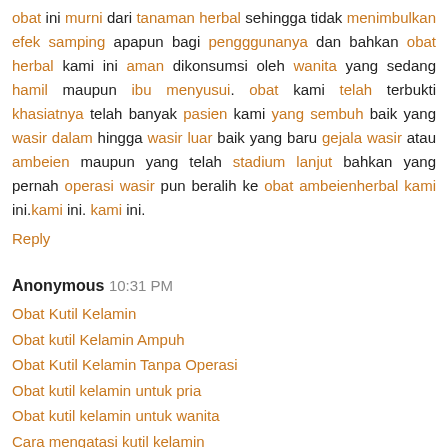obat ini murni dari tanaman herbal sehingga tidak menimbulkan efek samping apapun bagi pengggunanya dan bahkan obat herbal kami ini aman dikonsumsi oleh wanita yang sedang hamil maupun ibu menyusui. obat kami telah terbukti khasiatnya telah banyak pasien kami yang sembuh baik yang wasir dalam hingga wasir luar baik yang baru gejala wasir atau ambeien maupun yang telah stadium lanjut bahkan yang pernah operasi wasir pun beralih ke obat ambeienherbal kami ini.kami ini. kami ini.
Reply
Anonymous 10:31 PM
Obat Kutil Kelamin
Obat kutil Kelamin Ampuh
Obat Kutil Kelamin Tanpa Operasi
Obat kutil kelamin untuk pria
Obat kutil kelamin untuk wanita
Cara mengatasi kutil kelamin
Cara mengobati kutil kelamin
Cara menyembuhkan kutil kelamin